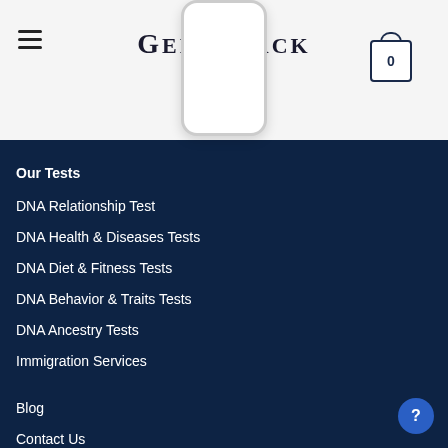GENETRACK
Our Tests
DNA Relationship Test
DNA Health & Diseases Tests
DNA Diet & Fitness Tests
DNA Behavior & Traits Tests
DNA Ancestry Tests
Immigration Services
Blog
Contact Us
Benefits